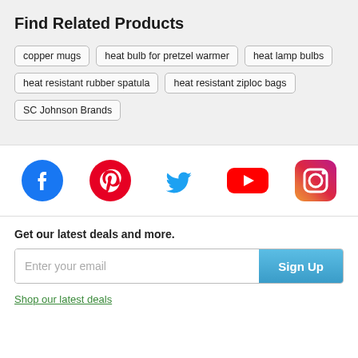Find Related Products
copper mugs
heat bulb for pretzel warmer
heat lamp bulbs
heat resistant rubber spatula
heat resistant ziploc bags
SC Johnson Brands
[Figure (infographic): Social media icons: Facebook, Pinterest, Twitter, YouTube, Instagram]
Get our latest deals and more.
Enter your email | Sign Up
Shop our latest deals